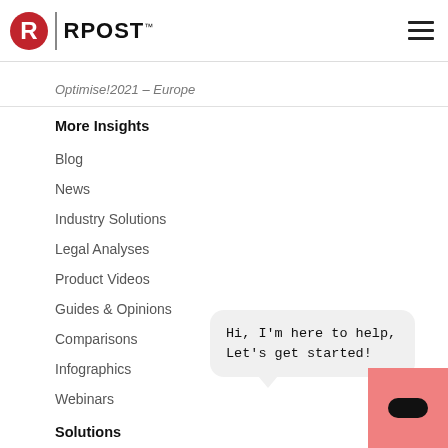RPost
Optimise!2021 – Europe
More Insights
Blog
News
Industry Solutions
Legal Analyses
Product Videos
Guides & Opinions
Comparisons
Infographics
Webinars
Solutions
[Figure (screenshot): Chat popup bubble saying: Hi, I'm here to help, Let's get started! with a pink chat button in the bottom right corner.]